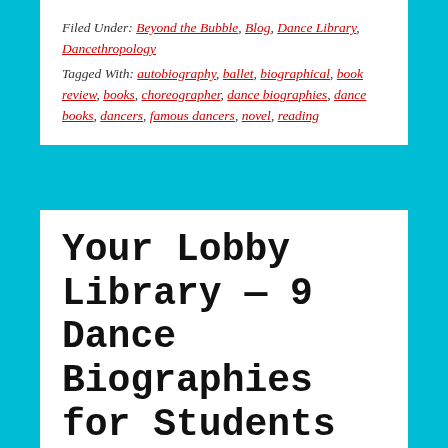Filed Under: Beyond the Bubble, Blog, Dance Library, Dancethropology
Tagged With: autobiography, ballet, biographical, book review, books, choreographer, dance biographies, dance books, dancers, famous dancers, novel, reading
Your Lobby Library — 9 Dance Biographies for Students
JULY 17, 2009 by NICHELLE SUZANNE